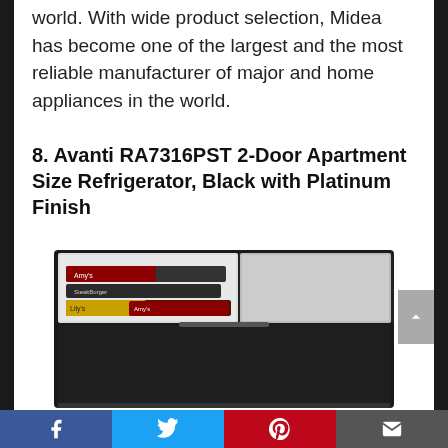world. With wide product selection, Midea has become one of the largest and the most reliable manufacturer of major and home appliances in the world.
8. Avanti RA7316PST 2-Door Apartment Size Refrigerator, Black with Platinum Finish
[Figure (photo): Photo of Avanti RA7316PST 2-Door Apartment Size Refrigerator with black exterior and platinum finish, showing the open freezer compartment on top stocked with food items, and the refrigerator door open on the right side.]
Facebook | Twitter | Pinterest | Email